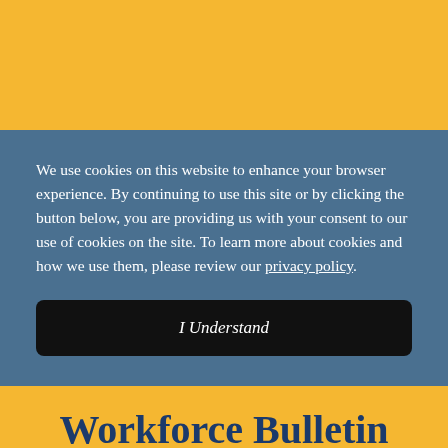We use cookies on this website to enhance your browser experience. By continuing to use this site or by clicking the button below, you are providing us with your consent to our use of cookies on the site. To learn more about cookies and how we use them, please review our privacy policy.
I Understand
Workforce Bulletin
Insights on Labor and Employment Law